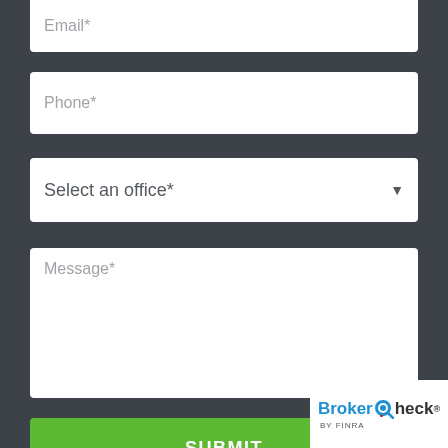Email*
Phone*
Select an office*
Message*
SUBMIT
[Figure (logo): BrokerCheck by FINRA logo — white rounded rectangle with BrokerCheck text in blue and dark gray with magnifying glass icon, and 'by FINRA' subtitle]